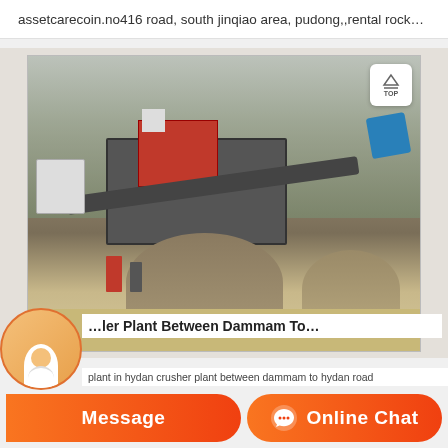assetcarecoin.no416 road, south jinqiao area, pudong,,rental rock…
[Figure (photo): Outdoor rock crusher plant with conveyor belts, red and black machinery, gravel piles in foreground, bare trees and hillside in background. Two workers visible near equipment. Blue hopper visible on right.]
plant in hydan crusher plant between dammam to hydan road